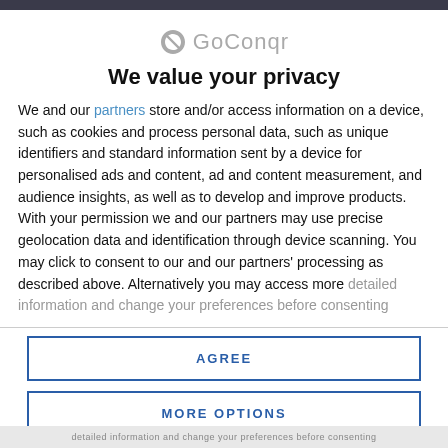[Figure (logo): GoConqr logo with stylized C icon and grey text]
We value your privacy
We and our partners store and/or access information on a device, such as cookies and process personal data, such as unique identifiers and standard information sent by a device for personalised ads and content, ad and content measurement, and audience insights, as well as to develop and improve products. With your permission we and our partners may use precise geolocation data and identification through device scanning. You may click to consent to our and our partners' processing as described above. Alternatively you may access more detailed information and change your preferences before consenting
AGREE
MORE OPTIONS